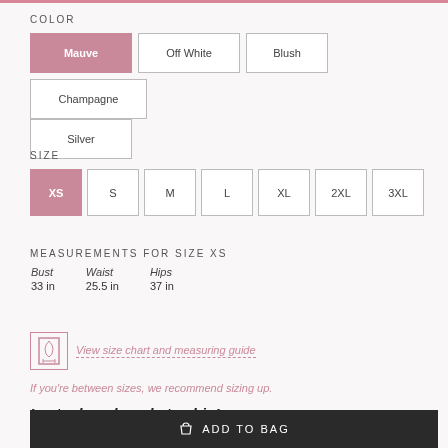COLOR
Mauve (selected), Off White, Blush, Champagne, Silver
SIZE
XS (selected), S, M, L, XL, 2XL, 3XL
MEASUREMENTS FOR SIZE XS
| Bust | Waist | Hips |
| --- | --- | --- |
| 33 in | 25.5 in | 37 in |
View size chart and measuring guide
If you're between sizes, we recommend sizing up.
In stock and ready to ship!
ADD TO BAG